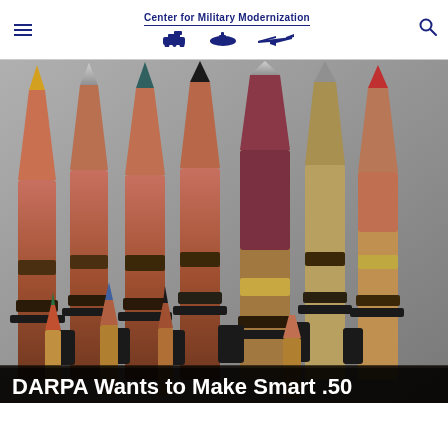Center for Military Modernization
[Figure (photo): Multiple large caliber ammunition rounds (.50 BMG and smaller rounds) lined up side by side, showing different bullet tip colors including yellow, silver, teal, black, dark red, and red, linked together with metal clips. Smaller rounds visible at the bottom front.]
DARPA Wants to Make Smart .50